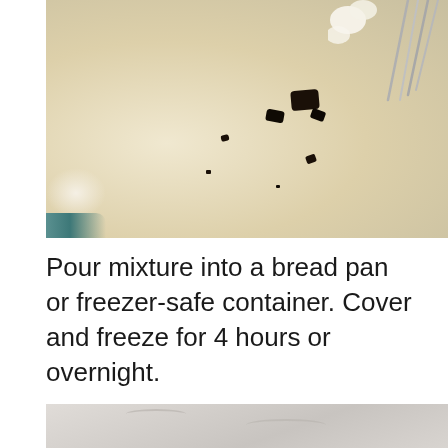[Figure (photo): Close-up photo of a creamy pale mixture in a bowl with dark chocolate pieces scattered in it and a whisk visible at the top right]
Pour mixture into a bread pan or freezer-safe container. Cover and freeze for 4 hours or overnight.
[Figure (photo): Partial photo of a pale creamy frozen mixture in a container, showing the surface with swirl patterns]